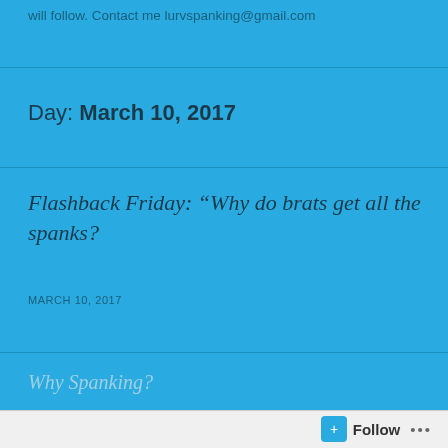will follow. Contact me lurvspanking@gmail.com
Day: March 10, 2017
Flashback Friday: “Why do brats get all the spanks?
MARCH 10, 2017
Why Spanking?
Follow ...